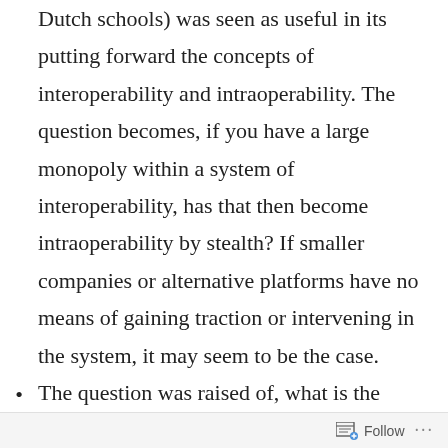Dutch schools) was seen as useful in its putting forward the concepts of interoperability and intraoperability. The question becomes, if you have a large monopoly within a system of interoperability, has that then become intraoperability by stealth? If smaller companies or alternative platforms have no means of gaining traction or intervening in the system, it may seem to be the case.
The question was raised of, what is the alternative to something like Google? This was not meant in a flippant manner but a sincere questioning of how we would (or should) imagine an alternative to the
Follow